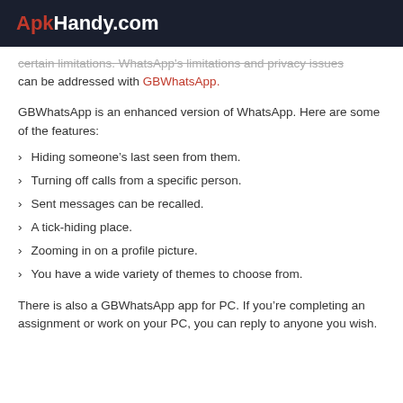ApkHandy.com
certain limitations. WhatsApp's limitations and privacy issues can be addressed with GBWhatsApp.
GBWhatsApp is an enhanced version of WhatsApp. Here are some of the features:
Hiding someone's last seen from them.
Turning off calls from a specific person.
Sent messages can be recalled.
A tick-hiding place.
Zooming in on a profile picture.
You have a wide variety of themes to choose from.
There is also a GBWhatsApp app for PC. If you're completing an assignment or work on your PC, you can reply to anyone you wish.